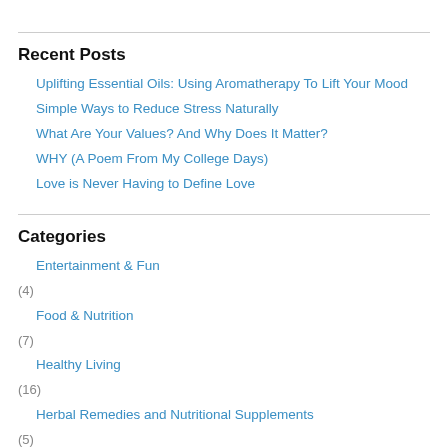Recent Posts
Uplifting Essential Oils: Using Aromatherapy To Lift Your Mood
Simple Ways to Reduce Stress Naturally
What Are Your Values? And Why Does It Matter?
WHY (A Poem From My College Days)
Love is Never Having to Define Love
Categories
Entertainment & Fun (4)
Food & Nutrition (7)
Healthy Living (16)
Herbal Remedies and Nutritional Supplements (5)
Life Journey (25)
Poetry and Fiction (4)
Yoga Wisdom (17)